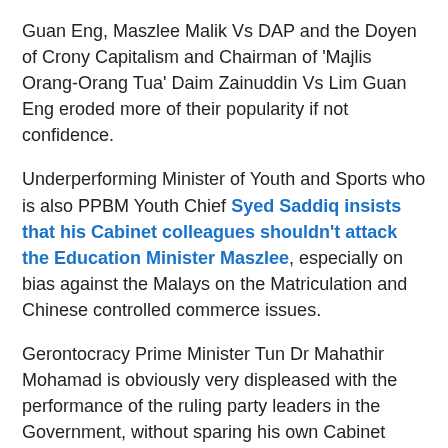Guan Eng, Maszlee Malik Vs DAP and the Doyen of Crony Capitalism and Chairman of 'Majlis Orang-Orang Tua' Daim Zainuddin Vs Lim Guan Eng eroded more of their popularity if not confidence.
Underperforming Minister of Youth and Sports who is also PPBM Youth Chief Syed Saddiq insists that his Cabinet colleagues shouldn't attack the Education Minister Maszlee, especially on bias against the Malays on the Matriculation and Chinese controlled commerce issues.
Gerontocracy Prime Minister Tun Dr Mahathir Mohamad is obviously very displeased with the performance of the ruling party leaders in the Government, without sparing his own Cabinet members.
The fact that his Media Adviser Dato A Kadir Jasin did his